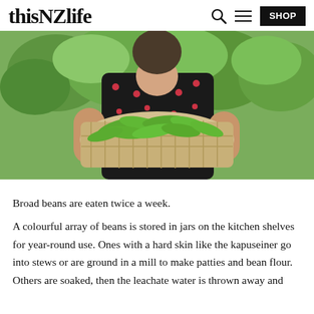thisNZlife | SHOP
[Figure (photo): Woman in black polka-dot dress holding a large wicker basket filled with fresh green broad beans, standing in a lush garden]
Broad beans are eaten twice a week.
A colourful array of beans is stored in jars on the kitchen shelves for year-round use. Ones with a hard skin like the kapuseiner go into stews or are ground in a mill to make patties and bean flour. Others are soaked, then the leachate water is thrown away and